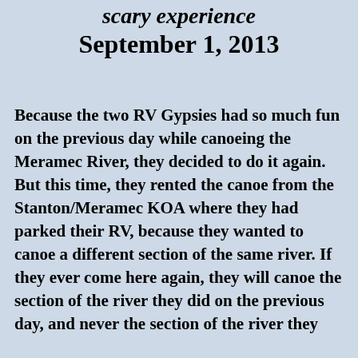scary experience September 1, 2013
Because the two RV Gypsies had so much fun on the previous day while canoeing the Meramec River, they decided to do it again. But this time, they rented the canoe from the Stanton/Meramec KOA where they had parked their RV, because they wanted to canoe a different section of the same river. If they ever come here again, they will canoe the section of the river they did on the previous day, and never the section of the river they